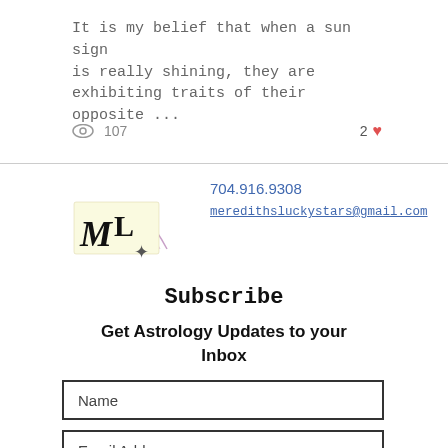It is my belief that when a sun sign is really shining, they are exhibiting traits of their opposite ...
107 views  2 likes
[Figure (logo): Meredith's Lucky Stars logo with ML letters and star]
704.916.9308
meredithsluckystars@gmail.com
Subscribe
Get Astrology Updates to your Inbox
Name
Email Address